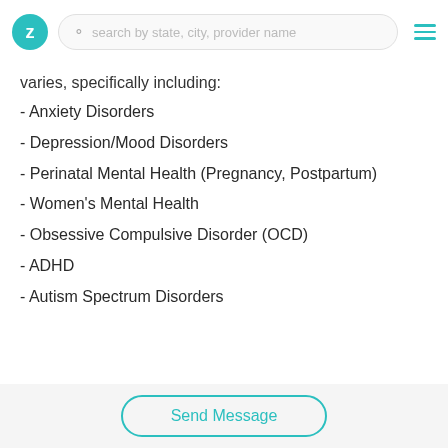Z  search by state, city, provider name  ≡
varies, specifically including:
- Anxiety Disorders
- Depression/Mood Disorders
- Perinatal Mental Health (Pregnancy, Postpartum)
- Women's Mental Health
- Obsessive Compulsive Disorder (OCD)
- ADHD
- Autism Spectrum Disorders
Send Message